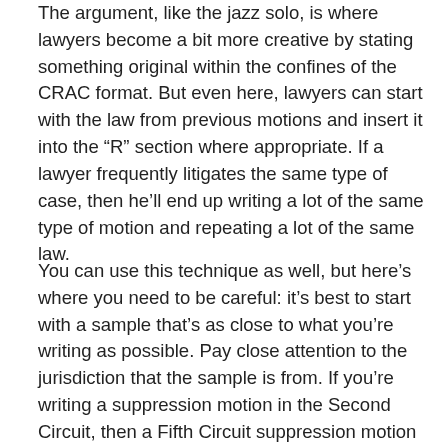The argument, like the jazz solo, is where lawyers become a bit more creative by stating something original within the confines of the CRAC format. But even here, lawyers can start with the law from previous motions and insert it into the “R” section where appropriate. If a lawyer frequently litigates the same type of case, then he’ll end up writing a lot of the same type of motion and repeating a lot of the same law.
You can use this technique as well, but here’s where you need to be careful: it’s best to start with a sample that’s as close to what you’re writing as possible. Pay close attention to the jurisdiction that the sample is from. If you’re writing a suppression motion in the Second Circuit, then a Fifth Circuit suppression motion isn’t going to be all that helpful since you’ll probably have to find all new Second Circuit cases. Even more importantly though, you need to make sure that the law that you’re using is correct. Even if the person who wrote the sample